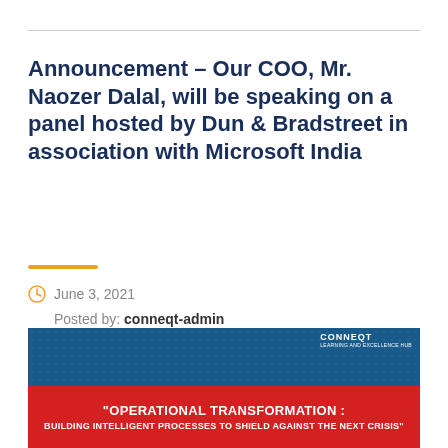Announcement – Our COO, Mr. Naozer Dalal, will be speaking on a panel hosted by Dun & Bradstreet in association with Microsoft India
June 3, 2021
Posted by: conneqt-admin
Category:
No Comments
[Figure (infographic): Banner with dark blue background and red lower section. Red section contains white text: '"OPERATIONAL TRANSFORMATION : BUILDING INTELLIGENT PROCESSES TO SHIELD AGAINST THE NEXT CRISIS"'. Top right corner shows CONNEQT logo in white.]